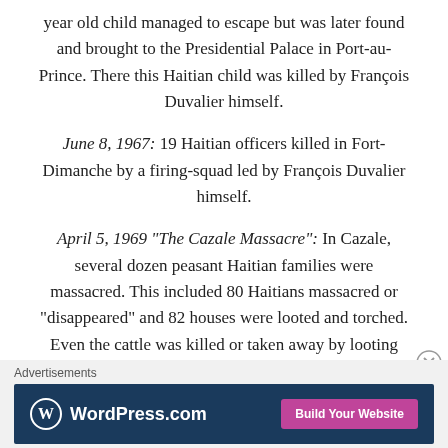year old child managed to escape but was later found and brought to the Presidential Palace in Port-au-Prince. There this Haitian child was killed by François Duvalier himself.
June 8, 1967: 19 Haitian officers killed in Fort-Dimanche by a firing-squad led by François Duvalier himself.
April 5, 1969 "The Cazale Massacre": In Cazale, several dozen peasant Haitian families were massacred. This included 80 Haitians massacred or "disappeared" and 82 houses were looted and torched. Even the cattle was killed or taken away by looting soldiers. Haitian women were forced to dance and have sex with the Haitian soldiers who stayed in the village.
Advertisements — WordPress.com — Build Your Website